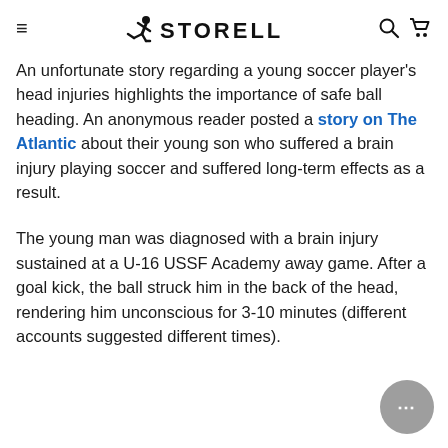≡ STORELLI [search] [cart]
An unfortunate story regarding a young soccer player's head injuries highlights the importance of safe ball heading. An anonymous reader posted a story on The Atlantic about their young son who suffered a brain injury playing soccer and suffered long-term effects as a result.
The young man was diagnosed with a brain injury sustained at a U-16 USSF Academy away game. After a goal kick, the ball struck him in the back of the head, rendering him unconscious for 3-10 minutes (different accounts suggested different times).